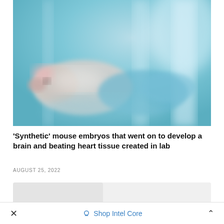[Figure (photo): A blurry, blue-tinted laboratory photo showing a small white mouse or embryo against a blue background with lab glassware visible]
'Synthetic' mouse embryos that went on to develop a brain and beating heart tissue created in lab
AUGUST 25, 2022
[Figure (photo): Partially visible next article card with light gray background]
× Shop Intel Core ^